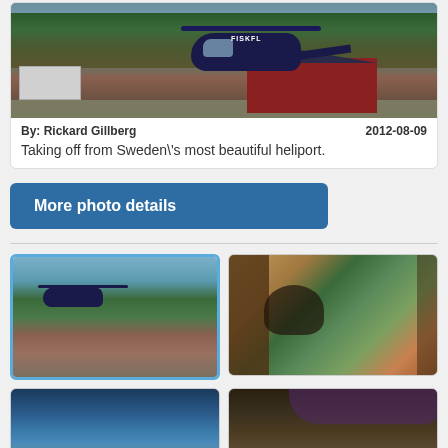[Figure (photo): Helicopter (marked FISKFL) taking off from a scenic heliport with red buildings and trees in the background]
By: Rickard Gillberg   2012-08-09
Taking off from Sweden\'s most beautiful heliport.
More photo details
[Figure (photo): Helicopter hovering above the scenic heliport with mountains in background]
[Figure (photo): View from helicopter cockpit showing mountain valley]
[Figure (photo): Sunset over water viewed through helicopter window]
[Figure (photo): Helicopter cockpit instrument panel]